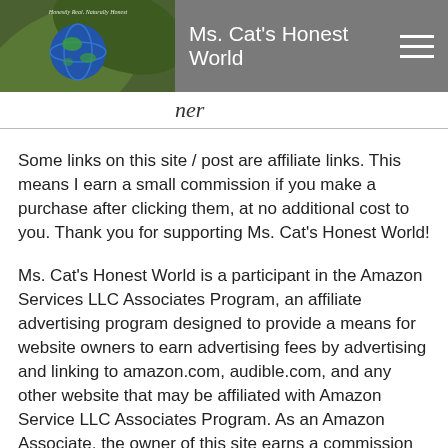Ms. Cat's Honest World
ner
Some links on this site / post are affiliate links. This means I earn a small commission if you make a purchase after clicking them, at no additional cost to you. Thank you for supporting Ms. Cat's Honest World!
Ms. Cat's Honest World is a participant in the Amazon Services LLC Associates Program, an affiliate advertising program designed to provide a means for website owners to earn advertising fees by advertising and linking to amazon.com, audible.com, and any other website that may be affiliated with Amazon Service LLC Associates Program. As an Amazon Associate, the owner of this site earns a commission from qualifying purchases